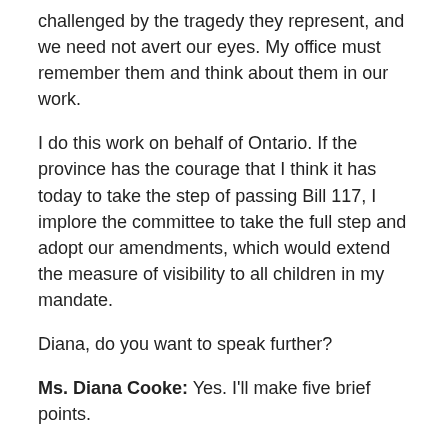challenged by the tragedy they represent, and we need not avert our eyes. My office must remember them and think about them in our work.
I do this work on behalf of Ontario. If the province has the courage that I think it has today to take the step of passing Bill 117, I implore the committee to take the full step and adopt our amendments, which would extend the measure of visibility to all children in my mandate.
Diana, do you want to speak further?
Ms. Diana Cooke: Yes. I'll make five brief points.
First, I wanted to say that we welcome these amendments, and we see these provisions as a safeguard for children and youth because they allow the provincial advocate to review information and, if he identifies concerns, allow him to raise these concerns with the ministry service providers or, in the case of a child with a serious injury, perhaps the child themselves.